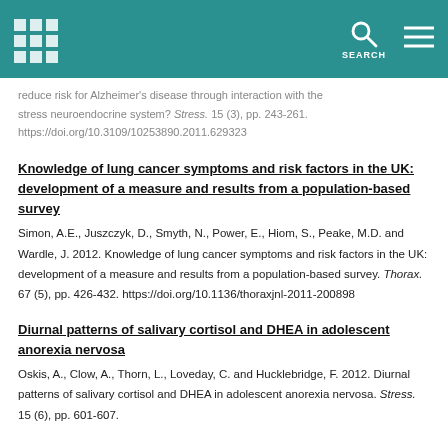SEARCH (navigation header with grid icon, search icon, hamburger menu)
reduce risk for Alzheimer's disease through interaction with the stress neuroendocrine system? Stress. 15 (3), pp. 243-261. https://doi.org/10.3109/10253890.2011.629323
Knowledge of lung cancer symptoms and risk factors in the UK: development of a measure and results from a population-based survey
Simon, A.E., Juszczyk, D., Smyth, N., Power, E., Hiom, S., Peake, M.D. and Wardle, J. 2012. Knowledge of lung cancer symptoms and risk factors in the UK: development of a measure and results from a population-based survey. Thorax. 67 (5), pp. 426-432. https://doi.org/10.1136/thoraxjnl-2011-200898
Diurnal patterns of salivary cortisol and DHEA in adolescent anorexia nervosa
Oskis, A., Clow, A., Thorn, L., Loveday, C. and Hucklebridge, F. 2012. Diurnal patterns of salivary cortisol and DHEA in adolescent anorexia nervosa. Stress. 15 (6), pp. 601-607.